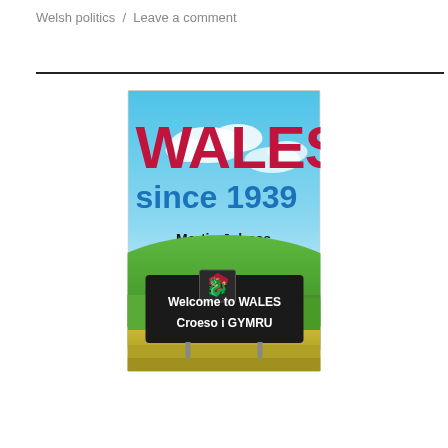Welsh politics  /  Leave a comment
[Figure (photo): Book cover of 'Wales since 1939' by Martin Johnes. Features large red 'WALES' title text and blue 'since 1939' subtitle against a sky background, with the author's name and a 'Welcome to WALES / Croeso i GYMRU' road sign in front of green fields.]